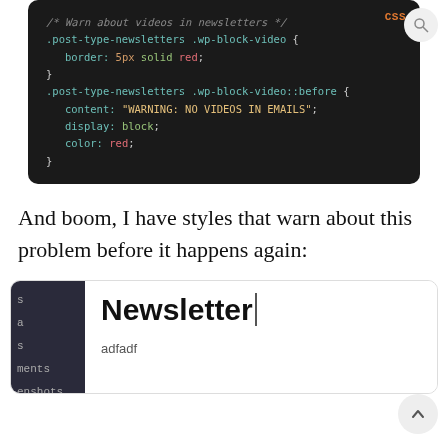[Figure (screenshot): CSS code block on dark background showing CSS rules for .post-type-newsletters .wp-block-video with border: 5px solid red, and .post-type-newsletters .wp-block-video::before with content: 'WARNING: NO VIDEOS IN EMAILS', display: block, color: red]
And boom, I have styles that warn about this problem before it happens again:
[Figure (screenshot): WordPress editor screenshot showing a Newsletter post with the title 'Newsletter' and body text 'adfadf', with a dark sidebar navigation on the left]